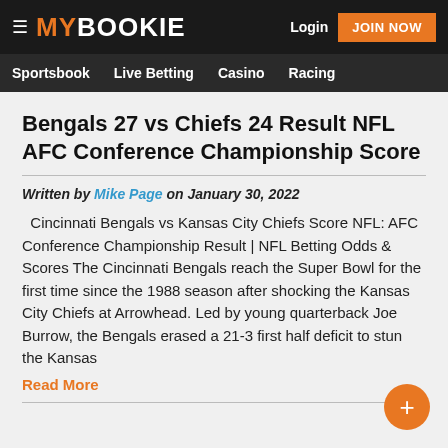MY BOOKIE | Login | JOIN NOW | Sportsbook | Live Betting | Casino | Racing
Bengals 27 vs Chiefs 24 Result NFL AFC Conference Championship Score
Written by Mike Page on January 30, 2022
Cincinnati Bengals vs Kansas City Chiefs Score NFL: AFC Conference Championship Result | NFL Betting Odds & Scores The Cincinnati Bengals reach the Super Bowl for the first time since the 1988 season after shocking the Kansas City Chiefs at Arrowhead. Led by young quarterback Joe Burrow, the Bengals erased a 21-3 first half deficit to stun the Kansas
Read More